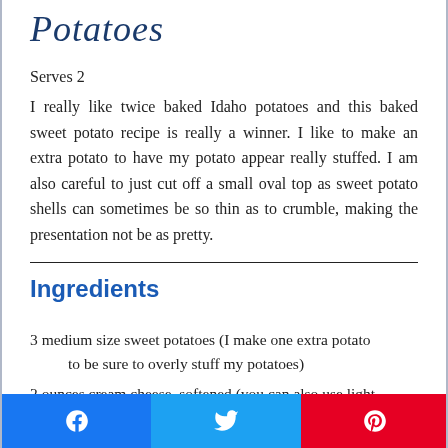Potatoes
Serves 2
I really like twice baked Idaho potatoes and this baked sweet potato recipe is really a winner. I like to make an extra potato to have my potato appear really stuffed. I am also careful to just cut off a small oval top as sweet potato shells can sometimes be so thin as to crumble, making the presentation not be as pretty.
Ingredients
3 medium size sweet potatoes (I make one extra potato to be sure to overly stuff my potatoes)
2 ounces cream cheese, softened (you can also use light cream cheese)
Facebook | Twitter | Pinterest